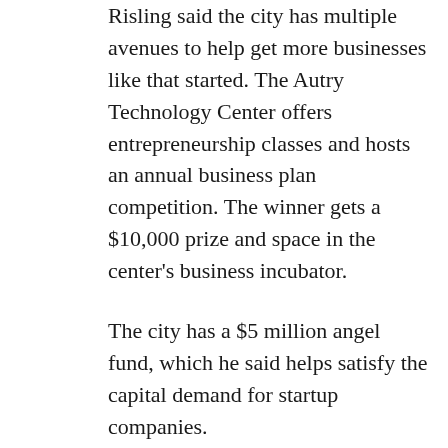Risling said the city has multiple avenues to help get more businesses like that started. The Autry Technology Center offers entrepreneurship classes and hosts an annual business plan competition. The winner gets a $10,000 prize and space in the center's business incubator.
The city has a $5 million angel fund, which he said helps satisfy the capital demand for startup companies.
There's also a Northwest Hires initiative. One of its programs is coordinating teacher tours, where young people can see the job opportunities available in the area.